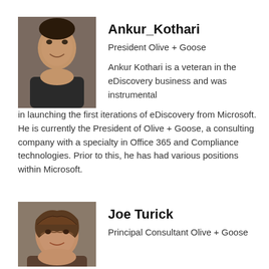[Figure (photo): Headshot photo of Ankur Kothari, a man in a suit smiling]
Ankur_Kothari
President Olive + Goose
Ankur Kothari is a veteran in the eDiscovery business and was instrumental in launching the first iterations of eDiscovery from Microsoft. He is currently the President of Olive + Goose, a consulting company with a specialty in Office 365 and Compliance technologies. Prior to this, he has had various positions within Microsoft.
[Figure (photo): Headshot photo of Joe Turick, a middle-aged man with curly hair]
Joe Turick
Principal Consultant Olive + Goose